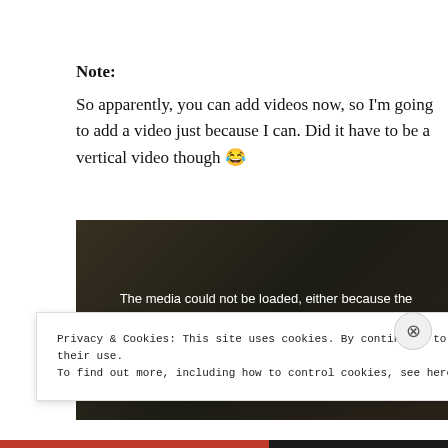Note:
So apparently, you can add videos now, so I'm going to add a video just because I can. Did it have to be a vertical video though 😂
[Figure (screenshot): Video player showing error message: 'The media could not be loaded, either because the server or network failed or because the format is not supported.']
Privacy & Cookies: This site uses cookies. By continuing to use this website, you agree to their use.
To find out more, including how to control cookies, see here: Cookie Policy
Close and accept